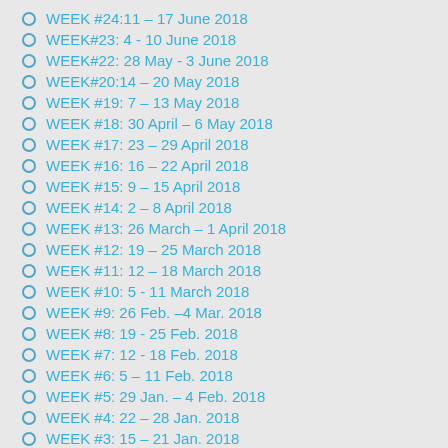WEEK #24:11 – 17 June 2018
WEEK#23: 4 - 10 June 2018
WEEK#22: 28 May - 3 June 2018
WEEK#20:14 – 20 May 2018
WEEK #19: 7 – 13 May 2018
WEEK #18: 30 April – 6 May 2018
WEEK #17: 23 – 29 April 2018
WEEK #16: 16 – 22 April 2018
WEEK #15: 9 – 15 April 2018
WEEK #14: 2 – 8 April 2018
WEEK #13: 26 March – 1 April 2018
WEEK #12: 19 – 25 March 2018
WEEK #11: 12 – 18 March 2018
WEEK #10: 5 - 11 March 2018
WEEK #9: 26 Feb. –4 Mar. 2018
WEEK #8: 19 - 25 Feb. 2018
WEEK #7: 12 - 18 Feb. 2018
WEEK #6: 5 – 11 Feb. 2018
WEEK #5: 29 Jan. – 4 Feb. 2018
WEEK #4: 22 – 28 Jan. 2018
WEEK #3: 15 – 21 Jan. 2018